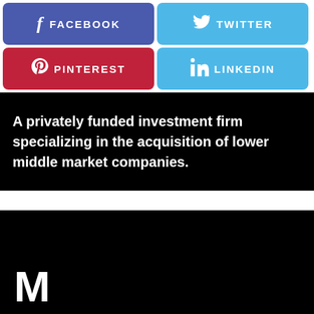[Figure (infographic): Social media share buttons: Facebook (dark blue-purple), Twitter (light blue), Pinterest (red), LinkedIn (light blue) arranged in 2x2 grid]
A privately funded investment firm specializing in the acquisition of lower middle market companies.
[Figure (other): Black banner with large white letter M at lower left, partially visible]